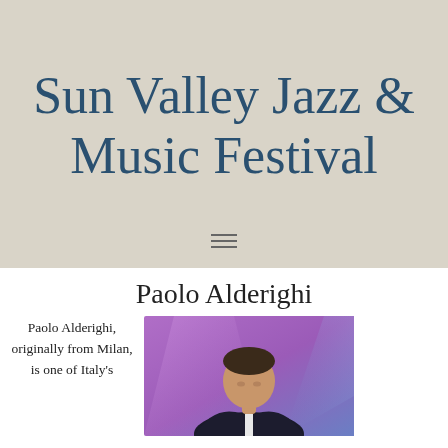Sun Valley Jazz & Music Festival
Paolo Alderighi
Paolo Alderighi, originally from Milan, is one of Italy's
[Figure (photo): Photo of Paolo Alderighi, a man in a dark suit playing piano, with purple and blue stage lighting in the background.]